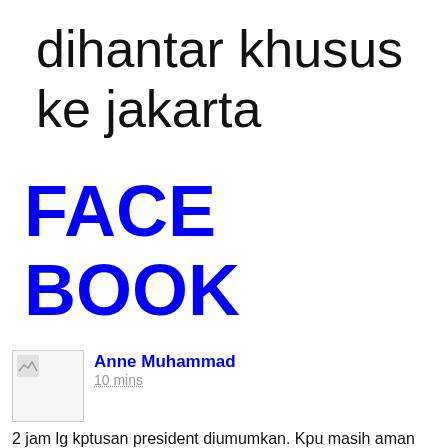dihantar khusus ke jakarta
FACE BOOK
[Figure (screenshot): Facebook post by Anne Muhammad, 10 mins ago]
2 jam lg kptusan president diumumkan. Kpu masih aman donk
SEDIA JIKA BERLAKU PENIPUAN
[Figure (screenshot): Bottom partial image block]